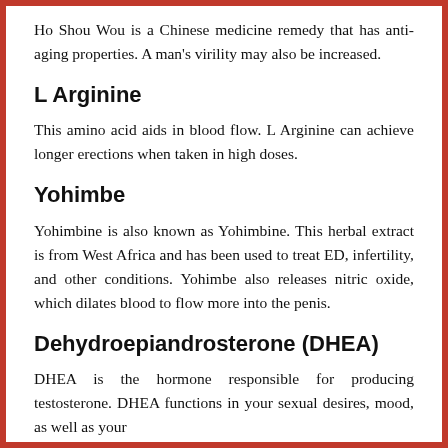Ho Shou Wou is a Chinese medicine remedy that has anti-aging properties. A man's virility may also be increased.
L Arginine
This amino acid aids in blood flow. L Arginine can achieve longer erections when taken in high doses.
Yohimbe
Yohimbine is also known as Yohimbine. This herbal extract is from West Africa and has been used to treat ED, infertility, and other conditions. Yohimbe also releases nitric oxide, which dilates blood to flow more into the penis.
Dehydroepiandrosterone (DHEA)
DHEA is the hormone responsible for producing testosterone. DHEA functions in your sexual desires, mood, as well as your